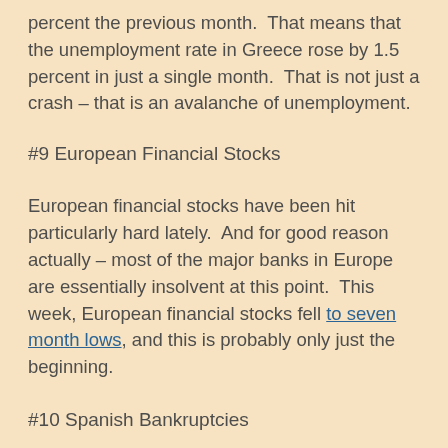percent the previous month.  That means that the unemployment rate in Greece rose by 1.5 percent in just a single month.  That is not just a crash – that is an avalanche of unemployment.
#9 European Financial Stocks
European financial stocks have been hit particularly hard lately.  And for good reason actually – most of the major banks in Europe are essentially insolvent at this point.  This week, European financial stocks fell to seven month lows, and this is probably only just the beginning.
#10 Spanish Bankruptcies